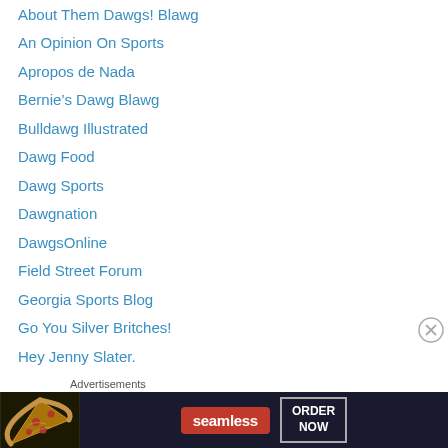About Them Dawgs! Blawg
An Opinion On Sports
Apropos de Nada
Bernie’s Dawg Blawg
Bulldawg Illustrated
Dawg Food
Dawg Sports
Dawgnation
DawgsOnline
Field Street Forum
Georgia Sports Blog
Go You Silver Britches!
Hey Jenny Slater.
Lucid Idiocy
The DawgCast
The Grit Tree
Advertisements
[Figure (infographic): Seamless food ordering advertisement banner with pizza image, Seamless logo in red badge, and ORDER NOW button]